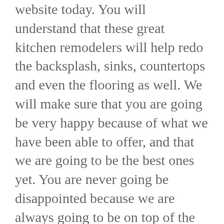website today. You will understand that these great kitchen remodelers will help redo the backsplash, sinks, countertops and even the flooring as well. We will make sure that you are going be very happy because of what we have been able to offer, and that we are going to be the best ones yet. You are never going be disappointed because we are always going to be on top of the and we are always going to be able to make sure that you will never be disappointed today.
We want to make sure that these great results that we have been able to provide for you are to me will have the quality bathroom remodel has well. We will show you that your bathroom remodeling services will be exactly what you have been able to provide today. We will make